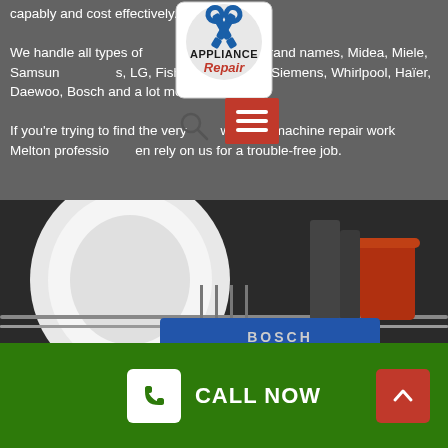capably and cost effectively.

We handle all types of washing machine brand names, Midea, Miele, Samsung, Electrolux, LG, Fisher and Paykel, Siemens, Whirlpool, Haier, Daewoo, Bosch and a lot more.

If you're trying to find the very best washing machine repair work Melton professionals then rely on us for a trouble-free job.
[Figure (logo): Appliance Repair logo with wrench icons]
[Figure (photo): Interior of a Bosch dishwasher loaded with dishes and cups, showing the rack and blue Bosch label]
CALL NOW